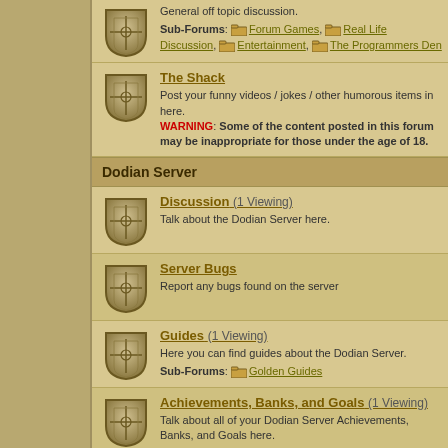General off topic discussion. Sub-Forums: Forum Games, Real Life Discussion, Entertainment, The Programmers Den
The Shack
Post your funny videos / jokes / other humorous items in here. WARNING: Some of the content posted in this forum may be inappropriate for those under the age of 18.
Dodian Server
Discussion (1 Viewing)
Talk about the Dodian Server here.
Server Bugs
Report any bugs found on the server
Guides (1 Viewing)
Here you can find guides about the Dodian Server. Sub-Forums: Golden Guides
Achievements, Banks, and Goals (1 Viewing)
Talk about all of your Dodian Server Achievements, Banks, and Goals here.
Market
Buy or Sell anything on the Server here.
Clans and Events
Interested in being part of a Clan or taking part in an event? Check out